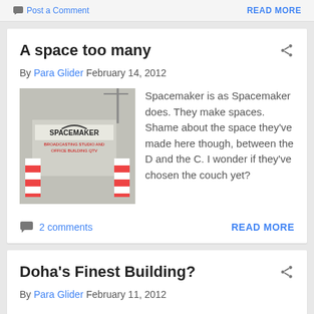Post a Comment   READ MORE
A space too many
By Para Glider February 14, 2012
[Figure (photo): Photo of a construction site with a Spacemaker sign, showing broadcasting studio and office building signage behind a chain-link fence with red and white barriers.]
Spacemaker is as Spacemaker does. They make spaces. Shame about the space they've made here though, between the D and the C. I wonder if they've chosen the couch yet?
2 comments   READ MORE
Doha's Finest Building?
By Para Glider February 11, 2012